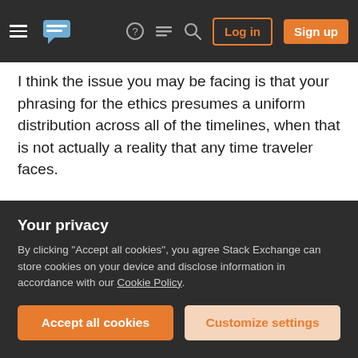Stack Exchange navigation header with menu, logo, help, chat, search, Log in, Sign up
I think the issue you may be facing is that your phrasing for the ethics presumes a uniform distribution across all of the timelines, when that is not actually a reality that any time traveler faces.
In theory, the only altruistic possibility is one where you actively seek to prevent anyone else from acquiring time travel. once you're sure you're the only one, you learn what you can about how to make the world better, and jump. That prevents that particular branch from growing exponentially. Thus, if you make this world better than it, you've made a
Your privacy
By clicking "Accept all cookies", you agree Stack Exchange can store cookies on your device and disclose information in accordance with our Cookie Policy.
Accept all cookies
Customize settings